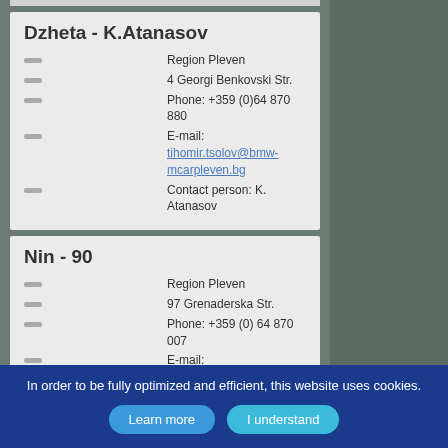Dzheta - K.Atanasov
Region Pleven
4 Georgi Benkovski Str.
Phone: +359 (0)64 870 880
E-mail: tihomir.tsolov@bmw-mcarpleven.bg
Contact person: K. Atanasov
Nin - 90
Region Pleven
97 Grenaderska Str.
Phone: +359 (0) 64 870 007
E-mail: tihomir.tsolov@bmw-mcarpleven.bg
Contact person: N. Nikolaev
Vesati
In order to be fully optimized and efficient, this website uses cookies.
Learn more | I understand